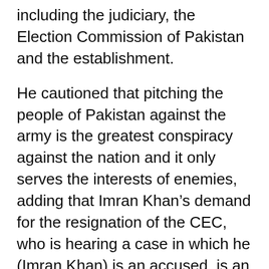including the judiciary, the Election Commission of Pakistan and the establishment.
He cautioned that pitching the people of Pakistan against the army is the greatest conspiracy against the nation and it only serves the interests of enemies, adding that Imran Khan’s demand for the resignation of the CEC, who is hearing a case in which he (Imran Khan) is an accused, is an instance of pure fascism.
On the foreign conspiracy, he contended that the real conspiracy is to illegally fund a political party to gain power, allow it to ruin the state institutions and the economy, and also be used to protect the…